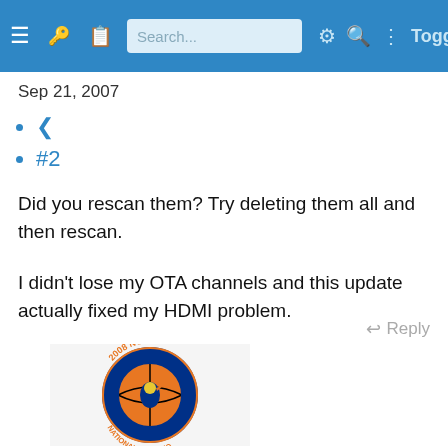Search... Togg
Sep 21, 2007
< (share icon)
#2
Did you rescan them? Try deleting them all and then rescan.
I didn't lose my OTA channels and this update actually fixed my HDMI problem.
Reply
[Figure (logo): 2008 NCAA National Champions Kansas Jayhawks basketball logo — circular badge with orange basketball, blue and red text, bird mascot center]